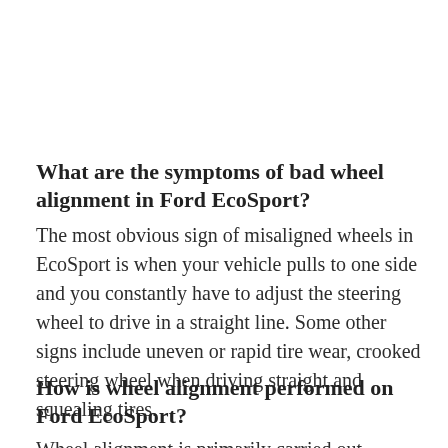What are the symptoms of bad wheel alignment in Ford EcoSport?
The most obvious sign of misaligned wheels in EcoSport is when your vehicle pulls to one side and you constantly have to adjust the steering wheel to drive in a straight line. Some other signs include uneven or rapid tire wear, crooked steering wheel when driving straight and squealing tires.
How is wheel alignment performed on Ford EcoSport?
Wheel alignment is primarily carried out